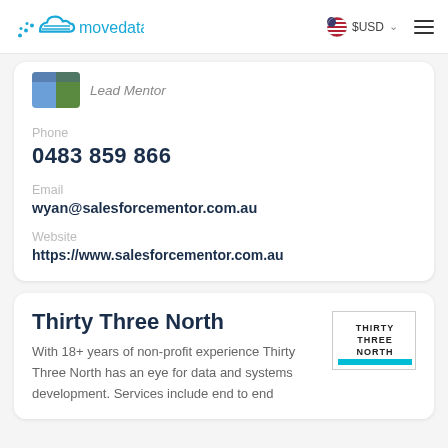movedata  $USD  ☰
Lead Mentor
Phone
0483 859 866
Email
wyan@salesforcementor.com.au
Website
https://www.salesforcementor.com.au
Thirty Three North
With 18+ years of non-profit experience Thirty Three North has an eye for data and systems development. Services include end to end